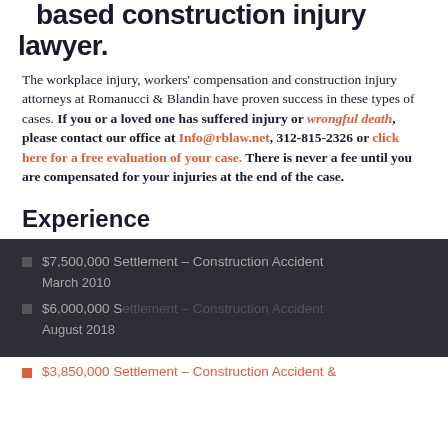based construction injury lawyer.
The workplace injury, workers' compensation and construction injury attorneys at Romanucci & Blandin have proven success in these types of cases. If you or a loved one has suffered injury or wrongful death, please contact our office at Info@rblaw.net, 312-815-2326 or click here for a free evaluation of your case. There is never a fee until you are compensated for your injuries at the end of the case.
Experience
$7,500,000 Settlement – Construction Accident | March 2010
$6,000,000 Settlement – Construction Accident | August 2018
$3,850,000 Settlement – Construction Accident &
By using this site, you agree to our updated Privacy Policy and our Terms of Use. ACCEPT AND CLOSE